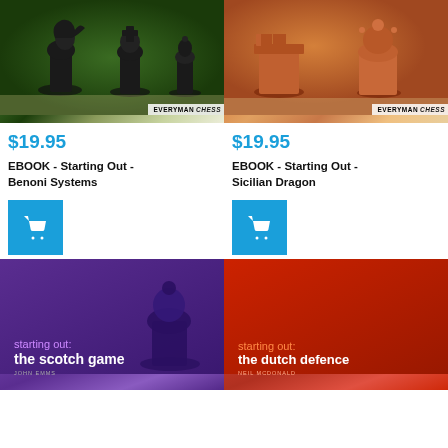[Figure (photo): Book cover for EBOOK - Starting Out - Benoni Systems, showing dark chess pieces on green background with Everyman Chess logo]
$19.95
EBOOK - Starting Out - Benoni Systems
[Figure (photo): Book cover for EBOOK - Starting Out - Sicilian Dragon, showing red/orange chess pieces on light background with Everyman Chess logo]
$19.95
EBOOK - Starting Out - Sicilian Dragon
[Figure (illustration): Blue shopping cart button icon]
[Figure (illustration): Blue shopping cart button icon]
[Figure (photo): Book cover for Starting Out: the scotch game by John Emms, purple background]
[Figure (photo): Book cover for Starting Out: the dutch defence by Neil McDonald, red background]